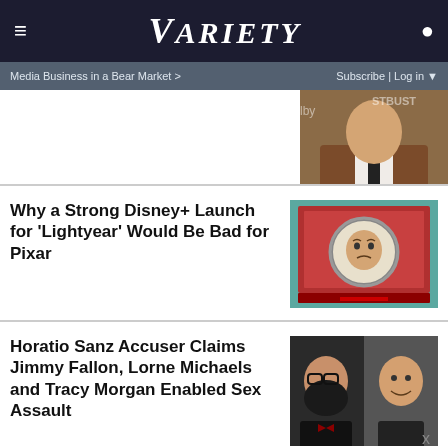VARIETY
Media Business in a Bear Market >  Subscribe | Log in
[Figure (photo): Man in brown suit at event, partial view, with partial text 'STBUST' visible]
Why a Strong Disney+ Launch for 'Lightyear' Would Be Bad for Pixar
[Figure (illustration): Lightyear animated character in space suit, shown in a framed vintage-style illustration with teal and red border]
Horatio Sanz Accuser Claims Jimmy Fallon, Lorne Michaels and Tracy Morgan Enabled Sex Assault
[Figure (photo): Two men side by side: Horatio Sanz with beard and glasses, Jimmy Fallon smiling]
MEET AIRWEAVE MODULAR, WASHABLE MATTRESS / SPY